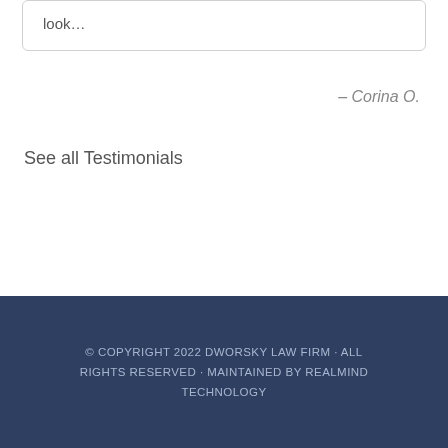look…
– Corina O.
See all Testimonials
[Figure (other): Previous and next navigation arrow buttons (grey circles with left and right chevrons)]
© COPYRIGHT 2022 DWORSKY LAW FIRM · ALL RIGHTS RESERVED · MAINTAINED BY REALMIND TECHNOLOGY